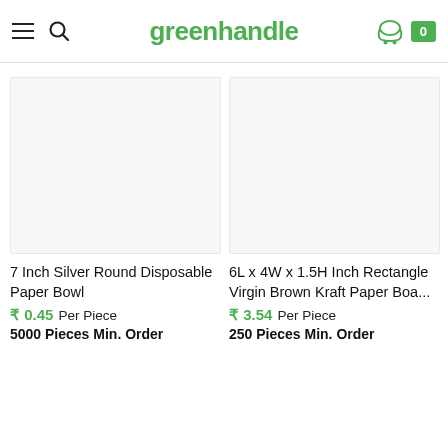greenhandle
[Figure (photo): Product image placeholder for 7 Inch Silver Round Disposable Paper Bowl]
7 Inch Silver Round Disposable Paper Bowl
₹ 0.45  Per Piece
5000 Pieces Min. Order
[Figure (photo): Product image placeholder for 6L x 4W x 1.5H Inch Rectangle Virgin Brown Kraft Paper Boa...]
6L x 4W x 1.5H Inch Rectangle Virgin Brown Kraft Paper Boa...
₹ 3.54  Per Piece
250 Pieces Min. Order